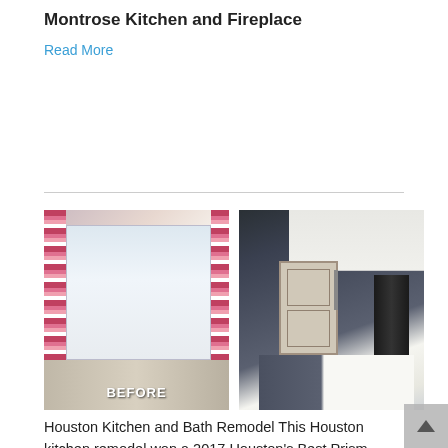Montrose Kitchen and Fireplace
Read More
[Figure (photo): Two kitchen photos side by side: a BEFORE photo showing a room with floral curtains and window, and an AFTER photo showing a modern kitchen with dark island, white countertop, pendant light, white cabinets, and stainless steel refrigerator]
Houston Kitchen and Bath Remodel This Houston kitchen remodel won a 2017 Houston's Best Prism Award in the category of Remodeled Kitchen under $50,000.  This project in Lakes on Eldridge features Dekton and Lapitec counter tops.  These are high end countertop products which are a sophisticated blend of